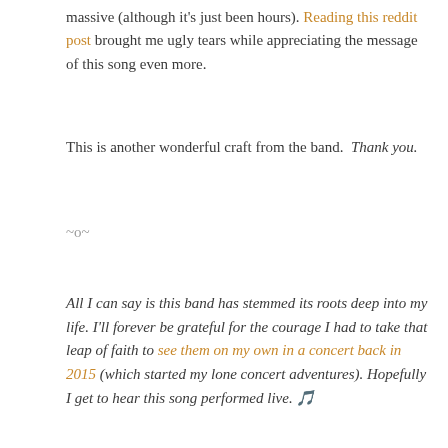massive (although it's just been hours). Reading this reddit post brought me ugly tears while appreciating the message of this song even more.
This is another wonderful craft from the band. Thank you.
~o~
All I can say is this band has stemmed its roots deep into my life. I'll forever be grateful for the courage I had to take that leap of faith to see them on my own in a concert back in 2015 (which started my lone concert adventures). Hopefully I get to hear this song performed live. 🎵